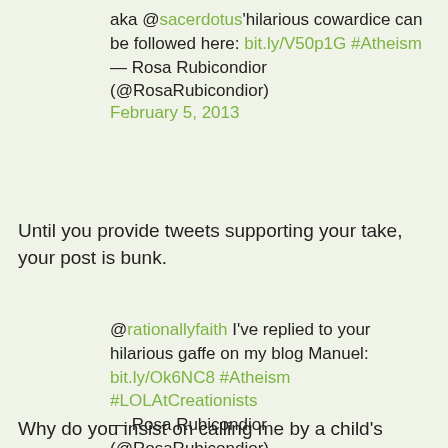aka @sacerdotus'hilarious cowardice can be followed here: bit.ly/V50p1G #Atheism — Rosa Rubicondior (@RosaRubicondior) February 5, 2013
Until you provide tweets supporting your take, your post is bunk.
@rationallyfaith I've replied to your hilarious gaffe on my blog Manuel: bit.ly/Ok6NC8 #Atheism #LOLAtCreationists — Rosa Rubicondior (@RosaRubicondior) September 23, 2012
Why do you insist on calling me by a child's name? Are you